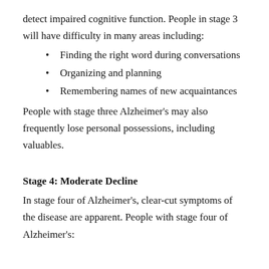detect impaired cognitive function. People in stage 3 will have difficulty in many areas including:
Finding the right word during conversations
Organizing and planning
Remembering names of new acquaintances
People with stage three Alzheimer's may also frequently lose personal possessions, including valuables.
Stage 4: Moderate Decline
In stage four of Alzheimer's, clear-cut symptoms of the disease are apparent. People with stage four of Alzheimer's: